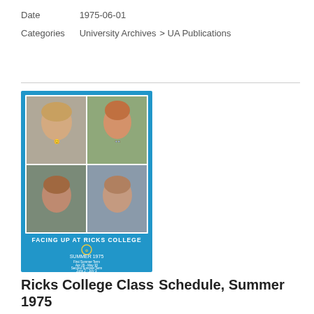Date    1975-06-01
Categories University Archives > UA Publications
[Figure (photo): Cover of Ricks College Class Schedule Summer 1975 booklet on blue background. Shows a 2x2 grid of student portrait photos and text 'FACING UP AT RICKS COLLEGE', 'SUMMER 1975', with term dates listed below.]
Ricks College Class Schedule, Summer 1975